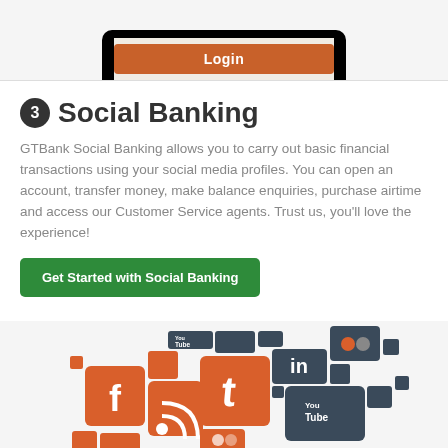[Figure (screenshot): Top portion of a mobile phone mockup showing a login button on a cream/beige background screen]
3 Social Banking
GTBank Social Banking allows you to carry out basic financial transactions using your social media profiles. You can open an account, transfer money, make balance enquiries, purchase airtime and access our Customer Service agents. Trust us, you'll love the experience!
Get Started with Social Banking
[Figure (illustration): Collage of social media icons including Facebook, Twitter, YouTube, LinkedIn, Flickr, and RSS feed icons in orange and dark gray/slate colors arranged in a mosaic pattern]